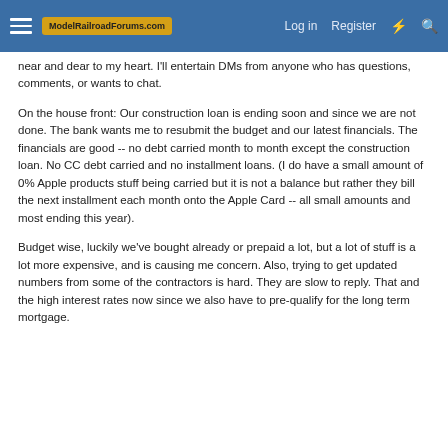ModelRailroadForums.com — Log in  Register
near and dear to my heart. I'll entertain DMs from anyone who has questions, comments, or wants to chat.
On the house front: Our construction loan is ending soon and since we are not done. The bank wants me to resubmit the budget and our latest financials. The financials are good -- no debt carried month to month except the construction loan. No CC debt carried and no installment loans. (I do have a small amount of 0% Apple products stuff being carried but it is not a balance but rather they bill the next installment each month onto the Apple Card -- all small amounts and most ending this year).
Budget wise, luckily we've bought already or prepaid a lot, but a lot of stuff is a lot more expensive, and is causing me concern. Also, trying to get updated numbers from some of the contractors is hard. They are slow to reply. That and the high interest rates now since we also have to pre-qualify for the long term mortgage.